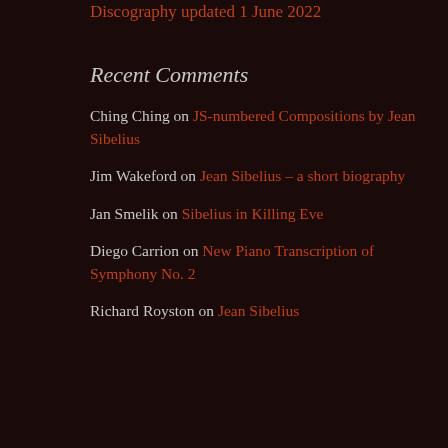Discography updated 1 June 2022
Recent Comments
Ching Ching on JS-numbered Compositions by Jean Sibelius
Jim Wakeford on Jean Sibelius – a short biography
Jan Smelik on Sibelius in Killing Eve
Diego Carrion on New Piano Transcription of Symphony No. 2
Richard Royston on Jean Sibelius